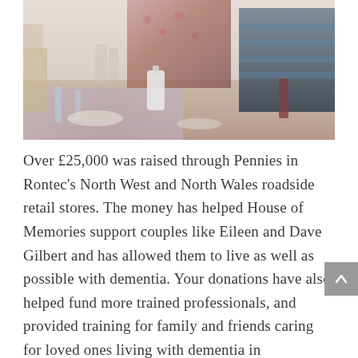[Figure (photo): People seated at a table in a restaurant or café setting, with glasses, dishes, and table settings visible. A woman in a floral top and a man in a striped top are partially visible.]
Over £25,000 was raised through Pennies in Rontec's North West and North Wales roadside retail stores. The money has helped House of Memories support couples like Eileen and Dave Gilbert and has allowed them to live as well as possible with dementia. Your donations have also helped fund more trained professionals, and provided training for family and friends caring for loved ones living with dementia in understanding person-centred dementia care.